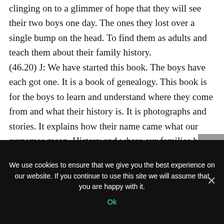clinging on to a glimmer of hope that they will see their two boys one day. The ones they lost over a single bump on the head. To find them as adults and teach them about their family history.
(46.20) J: We have started this book. The boys have each got one. It is a book of genealogy. This book is for the boys to learn and understand where they come from and what their history is. It is photographs and stories. It explains how their name came what our surnames mean. History and where our families have travelled around the world.
We use cookies to ensure that we give you the best experience on our website. If you continue to use this site we will assume that you are happy with it.
Ok